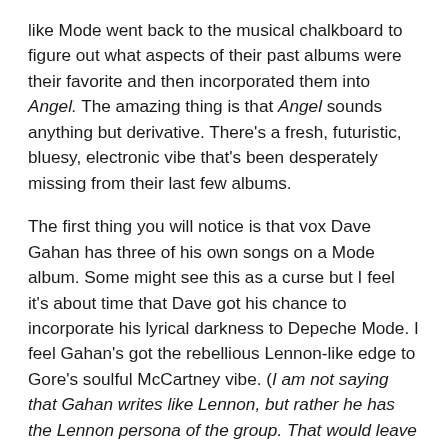like Mode went back to the musical chalkboard to figure out what aspects of their past albums were their favorite and then incorporated them into Angel. The amazing thing is that Angel sounds anything but derivative. There's a fresh, futuristic, bluesy, electronic vibe that's been desperately missing from their last few albums.
The first thing you will notice is that vox Dave Gahan has three of his own songs on a Mode album. Some might see this as a curse but I feel it's about time that Dave got his chance to incorporate his lyrical darkness to Depeche Mode. I feel Gahan's got the rebellious Lennon-like edge to Gore's soulful McCartney vibe. (I am not saying that Gahan writes like Lennon, but rather he has the Lennon persona of the group. That would leave Fletcher as Ringo and the now departed Wilder was the underappreciated